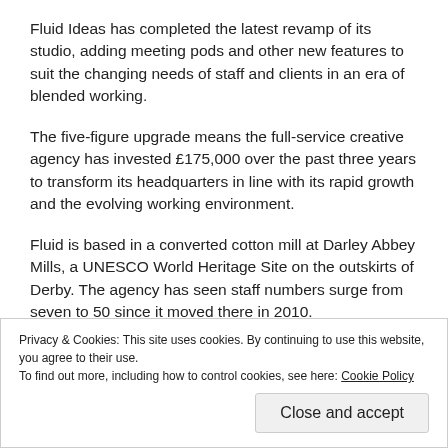Fluid Ideas has completed the latest revamp of its studio, adding meeting pods and other new features to suit the changing needs of staff and clients in an era of blended working.
The five-figure upgrade means the full-service creative agency has invested £175,000 over the past three years to transform its headquarters in line with its rapid growth and the evolving working environment.
Fluid is based in a converted cotton mill at Darley Abbey Mills, a UNESCO World Heritage Site on the outskirts of Derby. The agency has seen staff numbers surge from seven to 50 since it moved there in 2010.
Privacy & Cookies: This site uses cookies. By continuing to use this website, you agree to their use.
To find out more, including how to control cookies, see here: Cookie Policy
Close and accept